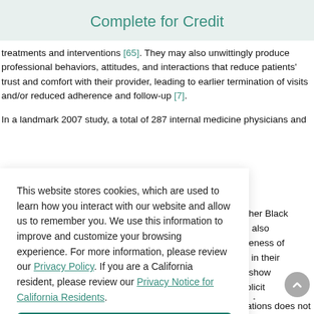Complete for Credit
treatments and interventions [65]. They may also unwittingly produce professional behaviors, attitudes, and interactions that reduce patients' trust and comfort with their provider, leading to earlier termination of visits and/or reduced adherence and follow-up [7].
In a landmark 2007 study, a total of 287 internal medicine physicians and
This website stores cookies, which are used to learn how you interact with our website and allow us to remember you. We use this information to improve and customize your browsing experience. For more information, please review our Privacy Policy. If you are a California resident, please review our Privacy Notice for California Residents.
ither Black
e also
veness of
s in their
l show
iplicit
reference
t
s led to the
ions
owever,
some argue that using vignettes depicting hypothetical situations does not